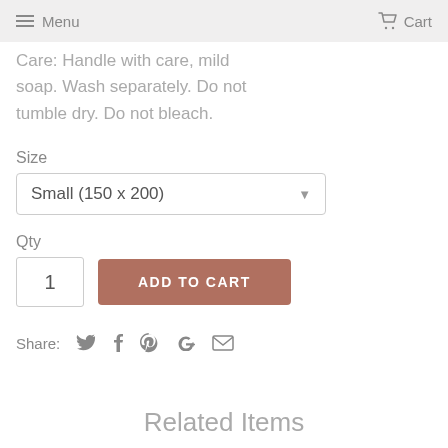Menu   Cart
Care: Handle with care, mild soap. Wash separately. Do not tumble dry. Do not bleach.
Size
Small (150 x 200)
Qty
1
ADD TO CART
Share:
Related Items